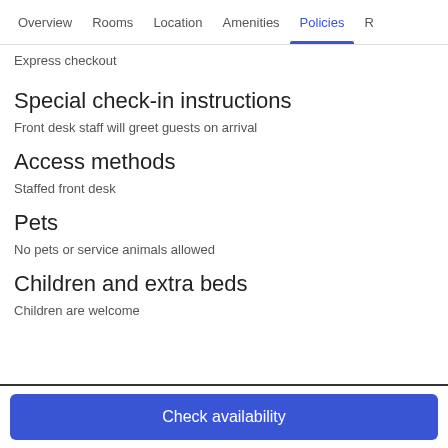Overview  Rooms  Location  Amenities  Policies  R
Express checkout
Special check-in instructions
Front desk staff will greet guests on arrival
Access methods
Staffed front desk
Pets
No pets or service animals allowed
Children and extra beds
Children are welcome
Check availability